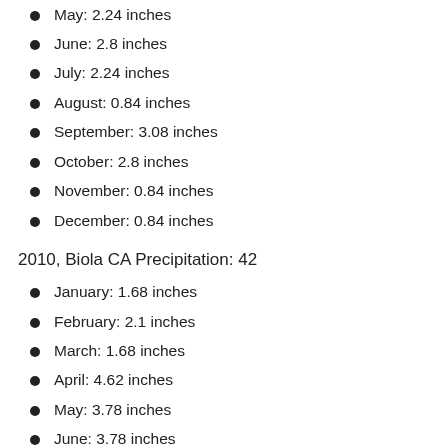May: 2.24 inches
June: 2.8 inches
July: 2.24 inches
August: 0.84 inches
September: 3.08 inches
October: 2.8 inches
November: 0.84 inches
December: 0.84 inches
2010, Biola CA Precipitation: 42
January: 1.68 inches
February: 2.1 inches
March: 1.68 inches
April: 4.62 inches
May: 3.78 inches
June: 3.78 inches
July: 4.62 inches
August: 1.68 inches
September: 2.94 inches
October: 1.26 inches